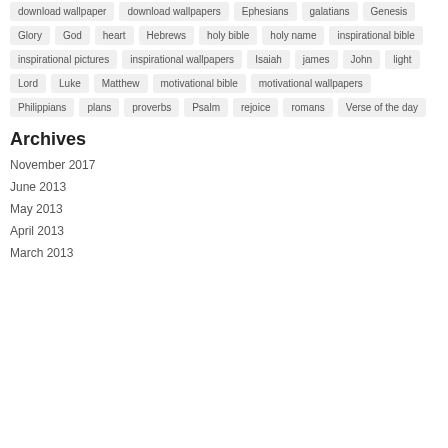download wallpaper
download wallpapers
Ephesians
galatians
Genesis
Glory
God
heart
Hebrews
holy bible
holy name
inspirational bible
inspirational pictures
inspirational wallpapers
Isaiah
james
John
light
Lord
Luke
Matthew
motivational bible
motivational wallpapers
Philippians
plans
proverbs
Psalm
rejoice
romans
Verse of the day
Archives
November 2017
June 2013
May 2013
April 2013
March 2013